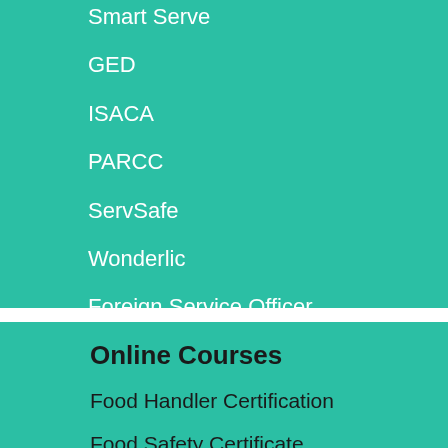Smart Serve
GED
ISACA
PARCC
ServSafe
Wonderlic
Foreign Service Officer
Online Courses
Food Handler Certification
Food Safety Certificate